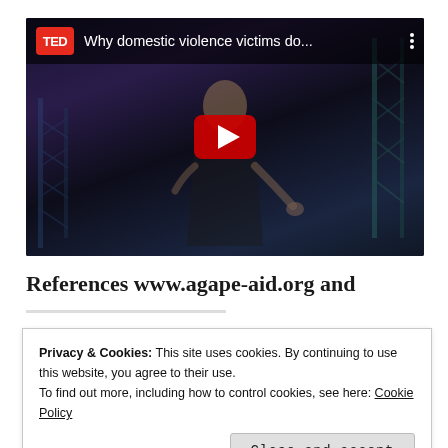[Figure (screenshot): YouTube video thumbnail for a TED Talk titled 'Why domestic violence victims do...' showing a woman speaker on a dark stage with blue scaffold/truss structures visible on the sides. A large red YouTube play button is centered on the image. The TED logo (red rectangle with white TED text) is visible in the top-left corner of the video player.]
References www.agape-aid.org and
Privacy & Cookies: This site uses cookies. By continuing to use this website, you agree to their use.
To find out more, including how to control cookies, see here: Cookie Policy